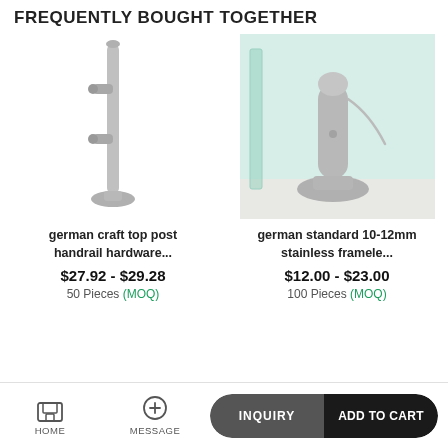FREQUENTLY BOUGHT TOGETHER
[Figure (photo): Product photo of a stainless steel top post handrail hardware post with side connectors on a white background]
german craft top post handrail hardware...
$27.92 - $29.28
50 Pieces (MOQ)
[Figure (photo): Product photo of a stainless steel frameless glass clamp/spigot mounted on a white surface with glass panel]
german standard 10-12mm stainless framele...
$12.00 - $23.00
100 Pieces (MOQ)
HOME  MESSAGE  INQUIRY  ADD TO CART